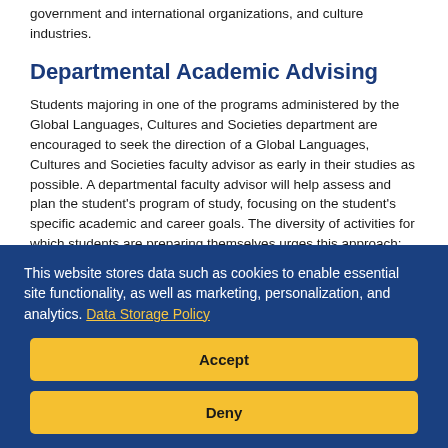government and international organizations, and culture industries.
Departmental Academic Advising
Students majoring in one of the programs administered by the Global Languages, Cultures and Societies department are encouraged to seek the direction of a Global Languages, Cultures and Societies faculty advisor as early in their studies as possible. A departmental faculty advisor will help assess and plan the student's program of study, focusing on the student's specific academic and career goals. The diversity of activities for which students are preparing themselves urges this approach: some students are seeking careers in
This website stores data such as cookies to enable essential site functionality, as well as marketing, personalization, and analytics. Data Storage Policy
Accept
Deny